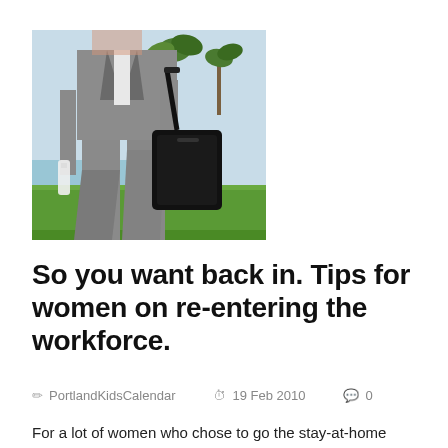[Figure (photo): A professional woman in a grey business suit walking outdoors, carrying a black laptop bag on her shoulder and holding a bottle in one hand. Green grass and palm trees visible in the background.]
So you want back in. Tips for women on re-entering the workforce.
✏ PortlandKidsCalendar   🕐 19 Feb 2010   💬 0
For a lot of women who chose to go the stay-at-home